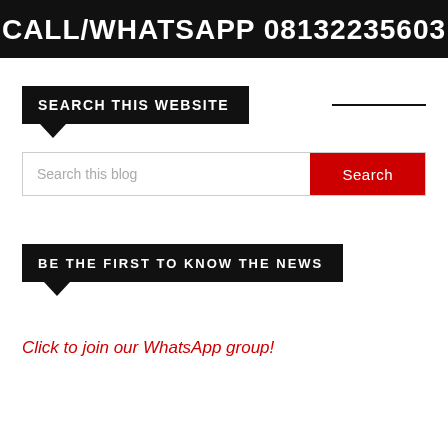CALL/WHATSAPP 08132235603
SEARCH THIS WEBSITE
Search this blog
BE THE FIRST TO KNOW THE NEWS
Click to join our WhatsApp group!